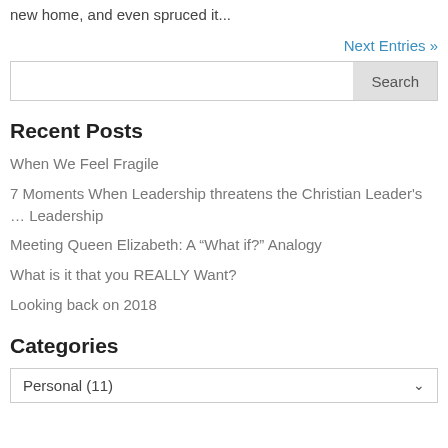new home, and even spruced it...
Next Entries »
Search
Recent Posts
When We Feel Fragile
7 Moments When Leadership threatens the Christian Leader's … Leadership
Meeting Queen Elizabeth: A “What if?” Analogy
What is it that you REALLY Want?
Looking back on 2018
Categories
Personal  (11)